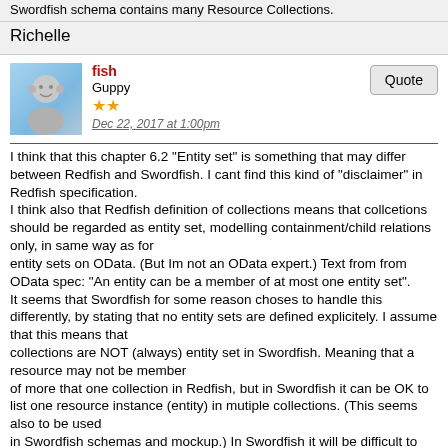Swordfish schema contains many Resource Collections.
Richelle
fish
Guppy
Dec 22, 2017 at 1:00pm
I think that this chapter 6.2 "Entity set" is something that may differ between Redfish and Swordfish. I cant find this kind of "disclaimer" in Redfish specification.
I think also that Redfish definition of collections means that collcetions should be regarded as entity set, modelling containment/child relations only, in same way as for
entity sets on OData. (But Im not an OData expert.) Text from from OData spec: "An entity can be a member of at most one entity set".
It seems that Swordfish for some reason choses to handle this differently, by stating that no entity sets are defined explicitely. I assume that this means that
collections are NOT (always) entity set in Swordfish. Meaning that a resource may not be member
of more that one collection in Redfish, but in Swordfish it can be OK to list one resource instance (entity) in mutiple collections. (This seems also to be used
in Swordfish schemas and mockup.) In Swordfish it will be difficult to know which collation that actually conatins the resource (child/containement), but according to gericson in below thread this is intentional, and left to each implementation. Personally I prefer the Redfish way to handle this, even if